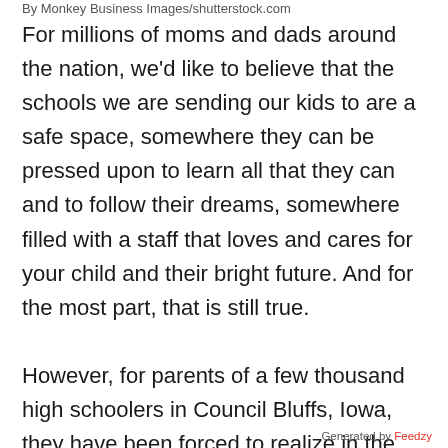By Monkey Business Images/shutterstock.com
For millions of moms and dads around the nation, we'd like to believe that the schools we are sending our kids to are a safe space, somewhere they can be pressed upon to learn all that they can and to follow their dreams, somewhere filled with a staff that loves and cares for your child and their bright future. And for the most part, that is still true.

However, for parents of a few thousand high schoolers in Council Bluffs, Iowa, they have been forced to realize in the last week that their child's school might not be such a safe place after all.
Generated by Feedzy